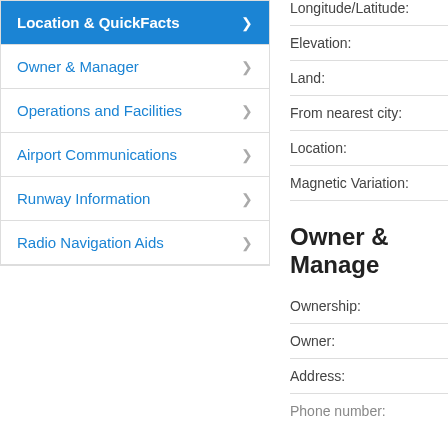Location & QuickFacts
Owner & Manager
Operations and Facilities
Airport Communications
Runway Information
Radio Navigation Aids
Longitude/Latitude:
Elevation:
Land:
From nearest city:
Location:
Magnetic Variation:
Owner & Manager
Ownership:
Owner:
Address:
Phone number: